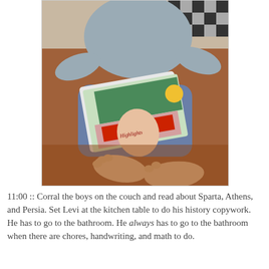[Figure (photo): A child sitting on a brown leather couch, holding a colorful book on their lap, with bare feet visible.]
11:00 :: Corral the boys on the couch and read about Sparta, Athens, and Persia. Set Levi at the kitchen table to do his history copywork. He has to go to the bathroom. He always has to go to the bathroom when there are chores, handwriting, and math to do.
[Figure (photo): Top of a child's head, blond hair, photographed from above in what appears to be a hallway or room.]